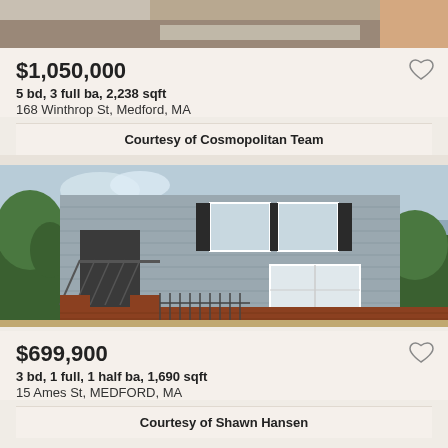[Figure (photo): Top portion of a house photo, cropped — shows roofline and driveway area]
$1,050,000
5 bd, 3 full ba, 2,238 sqft
168 Winthrop St, Medford, MA
Courtesy of Cosmopolitan Team
[Figure (photo): Two-story gray clapboard house with black shutters, French doors on ground floor, iron fence and brick pillars in front, trees on both sides]
$699,900
3 bd, 1 full, 1 half ba, 1,690 sqft
15 Ames St, MEDFORD, MA
Courtesy of Shawn Hansen